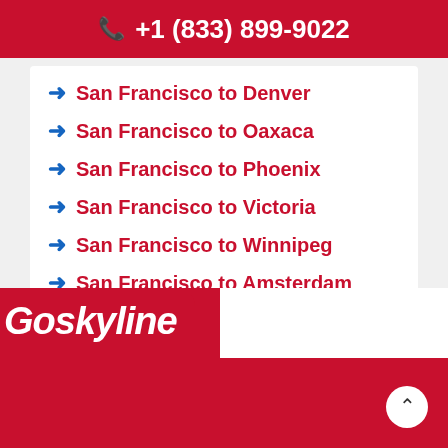+1 (833) 899-9022
San Francisco to Denver
San Francisco to Oaxaca
San Francisco to Phoenix
San Francisco to Victoria
San Francisco to Winnipeg
San Francisco to Amsterdam
San Francisco to Paris
Goskyline